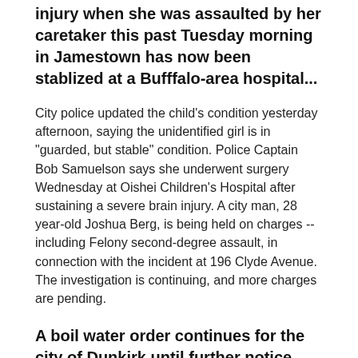injury when she was assaulted by her caretaker this past Tuesday morning in Jamestown has now been stablized at a Bufffalo-area hospital...
City police updated the child's condition yesterday afternoon, saying the unidentified girl is in "guarded, but stable" condition.  Police Captain Bob Samuelson says she underwent surgery Wednesday at Oishei  Children's Hospital after sustaining a severe brain injury.  A city man, 28 year-old Joshua Berg, is being held on charges -- including Felony second-degree assault, in connection with the incident at 196 Clyde Avenue.  The investigation is continuing, and more charges are pending.
A boil water order continues for the city of Dunkirk until further notice after construction at the city water plant triggered a large leak...